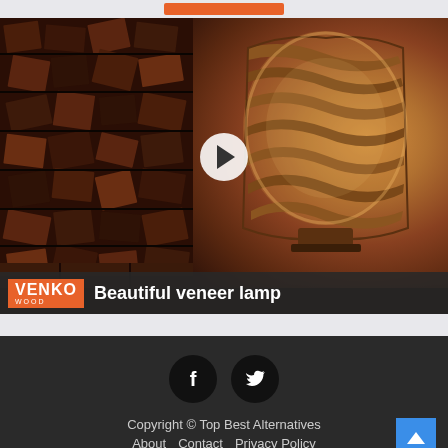[Figure (screenshot): Video thumbnail showing a wood wall mosaic on the left and a glowing veneer lamp on the right, with a play button overlay and VENKO wood branding bar at the bottom reading 'Beautiful veneer lamp']
Copyright © Top Best Alternatives
About   Contact   Privacy Policy